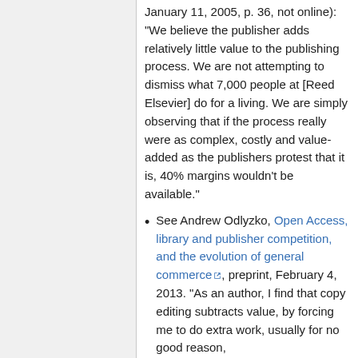January 11, 2005, p. 36, not online): "We believe the publisher adds relatively little value to the publishing process. We are not attempting to dismiss what 7,000 people at [Reed Elsevier] do for a living. We are simply observing that if the process really were as complex, costly and value-added as the publishers protest that it is, 40% margins wouldn't be available."
See Andrew Odlyzko, Open Access, library and publisher competition, and the evolution of general commerce, preprint, February 4, 2013. "As an author, I find that copy editing subtracts value, by forcing me to do extra work, usually for no good reason,